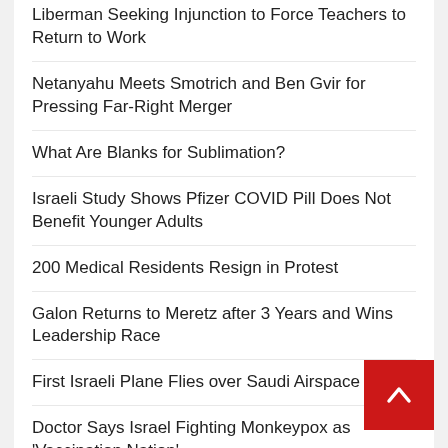Liberman Seeking Injunction to Force Teachers to Return to Work
Netanyahu Meets Smotrich and Ben Gvir for Pressing Far-Right Merger
What Are Blanks for Sublimation?
Israeli Study Shows Pfizer COVID Pill Does Not Benefit Younger Adults
200 Medical Residents Resign in Protest
Galon Returns to Meretz after 3 Years and Wins Leadership Race
First Israeli Plane Flies over Saudi Airspace
Doctor Says Israel Fighting Monkeypox as 'Vaccination Nation'
How To Become a Great Soccer Coach
Cheese and Milk Prices to Rise by 5% due to Economic Crunch